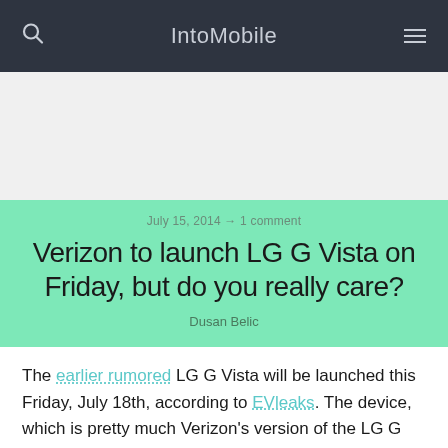IntoMobile
July 15, 2014 → 1 comment
Verizon to launch LG G Vista on Friday, but do you really care?
Dusan Belic
The earlier rumored LG G Vista will be launched this Friday, July 18th, according to EVleaks. The device, which is pretty much Verizon's version of the LG G Pro 2 Lite, looks like it's made for first-time phablet buyers. It's an entry-level smartphone with specs that include a large 5.7…